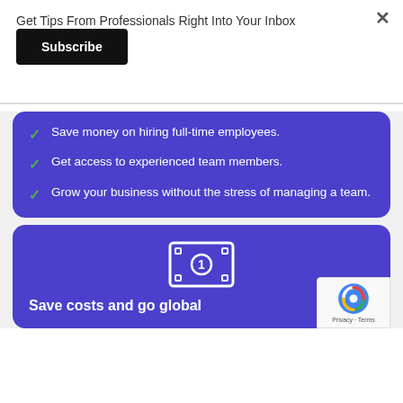Get Tips From Professionals Right Into Your Inbox
Subscribe
Save money on hiring full-time employees.
Get access to experienced team members.
Grow your business without the stress of managing a team.
[Figure (illustration): Money/dollar bill icon in white on purple background]
Save costs and go global